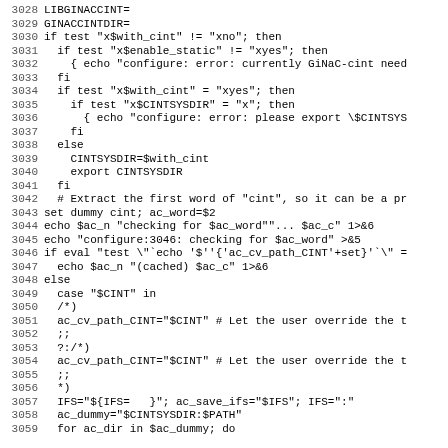[Figure (screenshot): Source code listing showing shell script lines 3028-3059 with line numbers on the left and code in monospace font. The code appears to be an autoconf configure script handling GiNaC-cint library detection.]